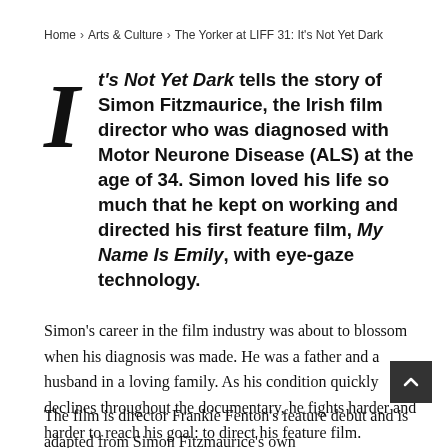Home > Arts & Culture > The Yorker at LIFF 31: It's Not Yet Dark
It's Not Yet Dark tells the story of Simon Fitzmaurice, the Irish film director who was diagnosed with Motor Neurone Disease (ALS) at the age of 34. Simon loved his life so much that he kept on working and directed his first feature film, My Name Is Emily, with eye-gaze technology.
Simon's career in the film industry was about to blossom when his diagnosis was made. He was a father and a husband in a loving family. As his condition quickly declines throughout the documentary, he fights harder and harder to reach his goal: to direct his feature film.
The film is director Frankie Fenton's feature debut and is adapted from Simon Fitzmaurice's own